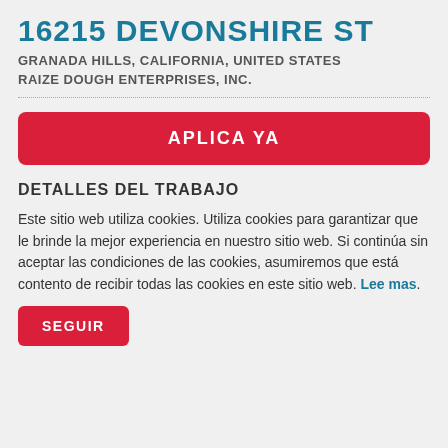16215 DEVONSHIRE ST
GRANADA HILLS, CALIFORNIA, UNITED STATES
RAIZE DOUGH ENTERPRISES, INC.
APLICA YA
DETALLES DEL TRABAJO
Este sitio web utiliza cookies. Utiliza cookies para garantizar que le brinde la mejor experiencia en nuestro sitio web. Si continúa sin aceptar las condiciones de las cookies, asumiremos que está contento de recibir todas las cookies en este sitio web. Lee mas.
SEGUIR